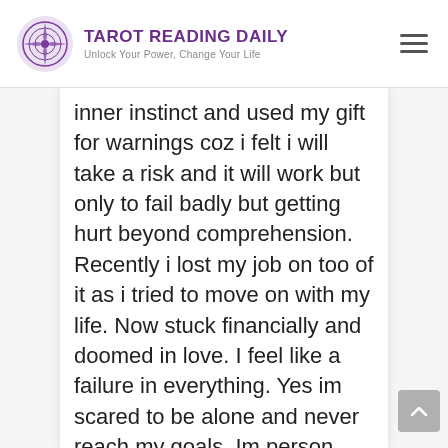TAROT READING DAILY — Unlock Your Power, Change Your Life
inner instinct and used my gift for warnings coz i felt i will take a risk and it will work but only to fail badly but getting hurt beyond comprehension. Recently i lost my job on too of it as i tried to move on with my life. Now stuck financially and doomed in love. I feel like a failure in everything. Yes im scared to be alone and never reach my goals. Im person that cries yet plans my way out of a situation, lately im tired fighting injustice and trying to have the love i deserve and have a permanent job and never wake up one day worrying if im out of work or no money to pay my bills.